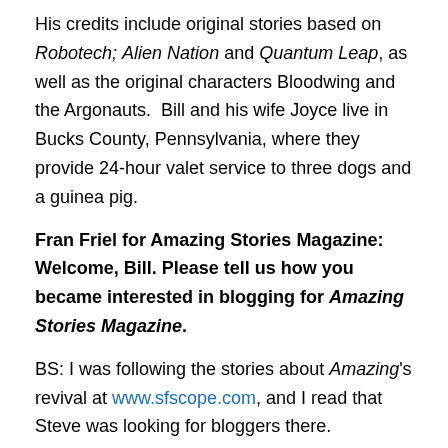His credits include original stories based on Robotech; Alien Nation and Quantum Leap, as well as the original characters Bloodwing and the Argonauts.  Bill and his wife Joyce live in Bucks County, Pennsylvania, where they provide 24-hour valet service to three dogs and a guinea pig.
Fran Friel for Amazing Stories Magazine: Welcome, Bill. Please tell us how you became interested in blogging for Amazing Stories Magazine.
BS: I was following the stories about Amazing's revival at www.sfscope.com, and I read that Steve was looking for bloggers there.
ASM: Amazing Stories magazine has a storied history of...